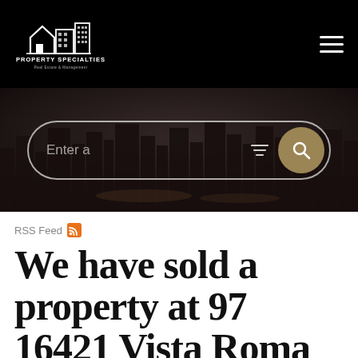Property Specialties
[Figure (screenshot): Night city skyline hero image with search bar containing 'Enter a' text, filter icon, and gold search button]
RSS Feed
We have sold a property at 97 16421 Vista Roma Circle in Huntington